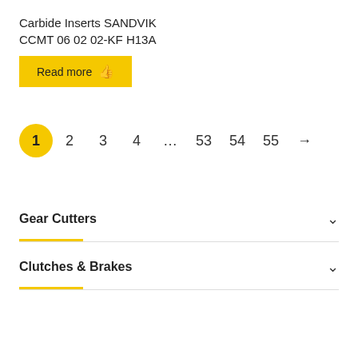Carbide Inserts SANDVIK CCMT 06 02 02-KF H13A
[Figure (other): Read more button with hand cursor icon]
1 2 3 4 … 53 54 55 →
Gear Cutters
Clutches & Brakes